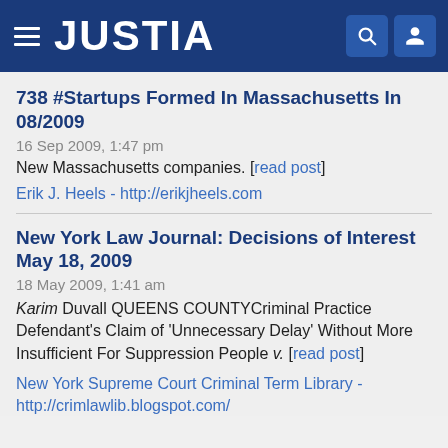JUSTIA
738 #Startups Formed In Massachusetts In 08/2009
16 Sep 2009, 1:47 pm
New Massachusetts companies. [read post]
Erik J. Heels - http://erikjheels.com
New York Law Journal: Decisions of Interest May 18, 2009
18 May 2009, 1:41 am
Karim Duvall QUEENS COUNTYCriminal Practice Defendant's Claim of 'Unnecessary Delay' Without More Insufficient For Suppression People v. [read post]
New York Supreme Court Criminal Term Library - http://crimlawlib.blogspot.com/